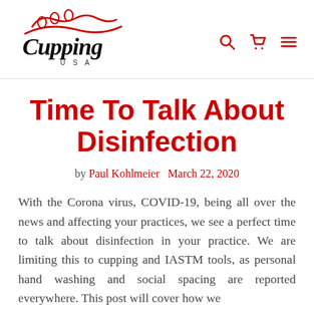[Figure (logo): Cupping USA logo — cursive 'Cupping' in black with red decorative swirl above, 'USA' below in small caps]
Search, Cart, and Menu navigation icons
Time To Talk About Disinfection
by Paul Kohlmeier   March 22, 2020
With the Corona virus, COVID-19, being all over the news and affecting your practices, we see a perfect time to talk about disinfection in your practice. We are limiting this to cupping and IASTM tools, as personal hand washing and social spacing are reported everywhere. This post will cover how we